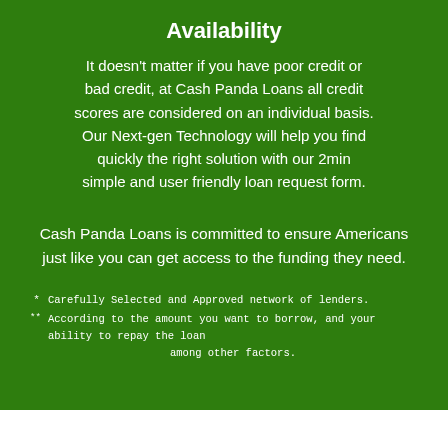Availability
It doesn't matter if you have poor credit or bad credit, at Cash Panda Loans all credit scores are considered on an individual basis. Our Next-gen Technology will help you find quickly the right solution with our 2min simple and user friendly loan request form.
Cash Panda Loans is committed to ensure Americans just like you can get access to the funding they need.
* Carefully Selected and Approved network of lenders.
**According to the amount you want to borrow, and your ability to repay the loan among other factors.